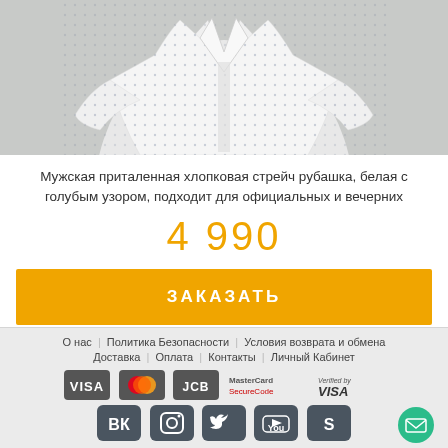[Figure (photo): Photo of a men's fitted white shirt with blue pattern, shown on a model against grey background]
Мужская приталенная хлопковая стрейч рубашка, белая с голубым узором, подходит для официальных и вечерних
4 990
ЗАКАЗАТЬ
О нас   Политика Безопасности   Условия возврата и обмена   Доставка   Оплата   Контакты   Личный Кабинет